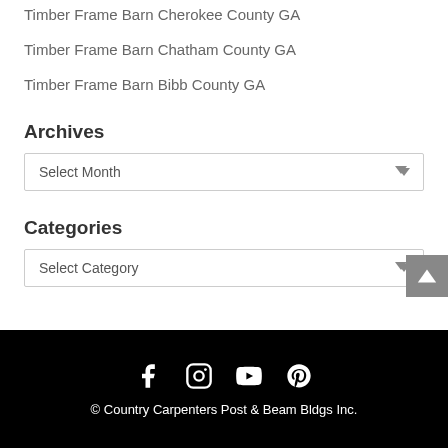Timber Frame Barn Cherokee County GA
Timber Frame Barn Chatham County GA
Timber Frame Barn Bibb County GA
Archives
[Figure (screenshot): Dropdown select box labeled 'Select Month']
Categories
[Figure (screenshot): Dropdown select box labeled 'Select Category']
© Country Carpenters Post & Beam Bldgs Inc.